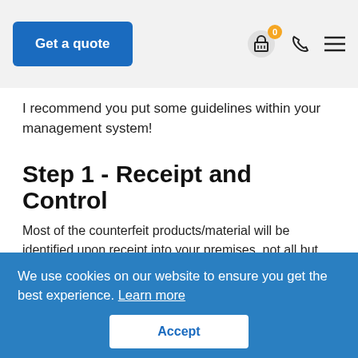Get a quote | [basket icon with 0] [phone icon] [menu icon]
I recommend you put some guidelines within your management system!
Step 1 - Receipt and Control
Most of the counterfeit products/material will be identified upon receipt into your premises, not all but most.
To prevent the items entering the production or controlling the items so they do not enter into your production or stores area to be used. The products/material may not be confirmed as counterfeit but you should assume it is if there is any doubt and treat it as such. The parts/material would be
We use cookies on our website to ensure you get the best experience. Learn more
Accept